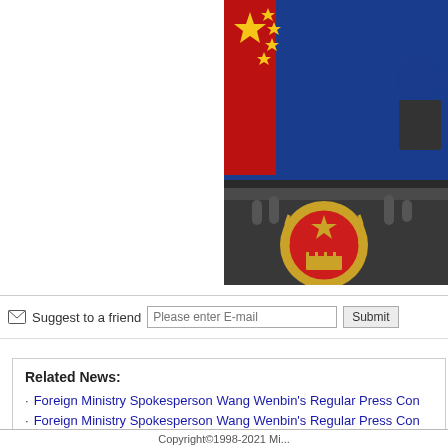[Figure (photo): Photo of a Chinese Foreign Ministry press conference podium with the national emblem (gold and red), microphones, Chinese flag in background, blue backdrop]
Suggest to a friend   Please enter E-mail   Submit
Related News:
Foreign Ministry Spokesperson Wang Wenbin's Regular Press Con...
Foreign Ministry Spokesperson Wang Wenbin's Regular Press Con...
Copyright©1998-2021 Mi...